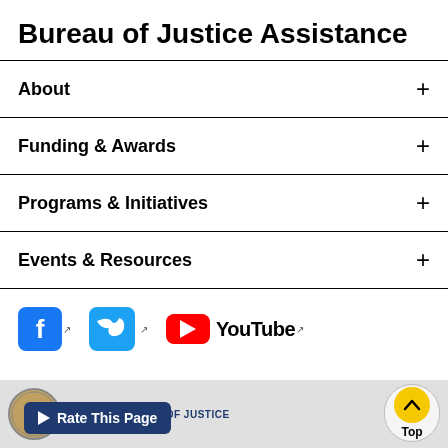Bureau of Justice Assistance
About
Funding & Awards
Programs & Initiatives
Events & Resources
[Figure (logo): Social media icons: Facebook, Twitter, YouTube]
Rate This Page | U.S. DEPARTMENT OF JUSTICE | Top